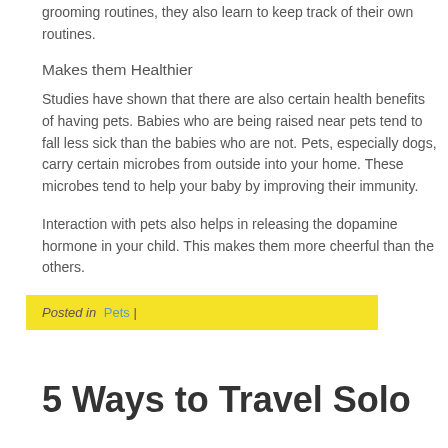grooming routines, they also learn to keep track of their own routines.
Makes them Healthier
Studies have shown that there are also certain health benefits of having pets. Babies who are being raised near pets tend to fall less sick than the babies who are not. Pets, especially dogs, carry certain microbes from outside into your home. These microbes tend to help your baby by improving their immunity.
Interaction with pets also helps in releasing the dopamine hormone in your child. This makes them more cheerful than the others.
Posted in Pets |
5 Ways to Travel Solo